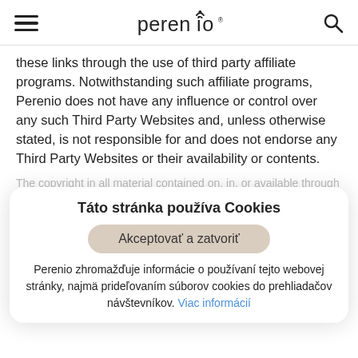perenio
these links through the use of third party affiliate programs. Notwithstanding such affiliate programs, Perenio does not have any influence or control over any such Third Party Websites and, unless otherwise stated, is not responsible for and does not endorse any Third Party Websites or their availability or contents.
The copyright in all material contained on, in, or available through the App including all information, functions, documents, photographs, graphics and the selection and arrangement thereof, and all source code, software compilations and other material ("the Material") is owned by or licensed to Perenio Group Companies. All rights, including its group companies, are reserved. You can view, print or download parts of the Material
Táto stránka používa Cookies
Akceptovať a zatvoriť
Perenio zhromažďuje informácie o používaní tejto webovej stránky, najmä prideľovaním súborov cookies do prehliadačov návštevníkov. Viac informácií